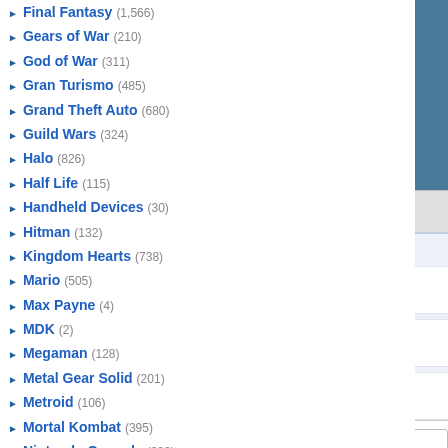Final Fantasy (1,566)
Gears of War (210)
God of War (311)
Gran Turismo (485)
Grand Theft Auto (680)
Guild Wars (324)
Halo (826)
Half Life (115)
Handheld Devices (30)
Hitman (132)
Kingdom Hearts (738)
Mario (505)
Max Payne (4)
MDK (2)
Megaman (128)
Metal Gear Solid (201)
Metroid (106)
Mortal Kombat (395)
Nintendo Console (323)
Parasite Eve (47)
Playstation Console (265)
Pokemon (Link)
Quake (18)
Ragnarok Online (98)
Resident Evil (472)
Sonic (420)
Soul Calibur (258)
Starcraft (142)
Star Wars (284)
[Figure (screenshot): Partial screenshot of a person in a dark blue/teal suit]
Report This Wallpaper | Add To Favorites
Wallpaper Groups
Scifi - 425 images, 40 members, 1 comment
100 Up - 26,624 images, 161 members, 1 comment
Favorites - 7,701 images, 103 members, 0 comments
Leave a comment...
This wallpaper has no comm